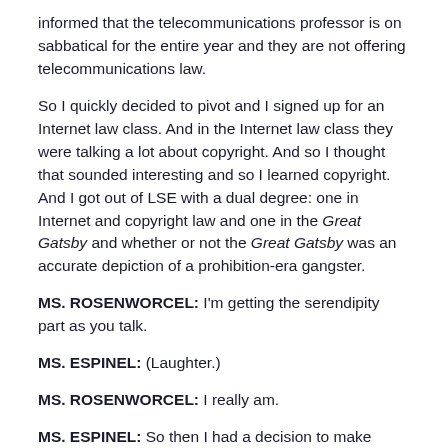informed that the telecommunications professor is on sabbatical for the entire year and they are not offering telecommunications law.
So I quickly decided to pivot and I signed up for an Internet law class. And in the Internet law class they were talking a lot about copyright. And so I thought that sounded interesting and so I learned copyright. And I got out of LSE with a dual degree: one in Internet and copyright law and one in the Great Gatsby and whether or not the Great Gatsby was an accurate depiction of a prohibition-era gangster.
MS. ROSENWORCEL: I'm getting the serendipity part as you talk.
MS. ESPINEL: (Laughter.)
MS. ROSENWORCEL: I really am.
MS. ESPINEL: So then I had a decision to make about where my career was going to go from there and ultimately I ended up going to Covington & Burling and working on copyright law